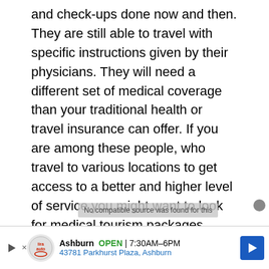and check-ups done now and then. They are still able to travel with specific instructions given by their physicians. They will need a different set of medical coverage than your traditional health or travel insurance can offer. If you are among these people, who travel to various locations to get access to a better and higher level of service you might want to look for medical tourism packages.
Travel Medical Insurance
Now, this is where things make more sense. From the way travel medical insurance is crafted, it can easily be described as a cross